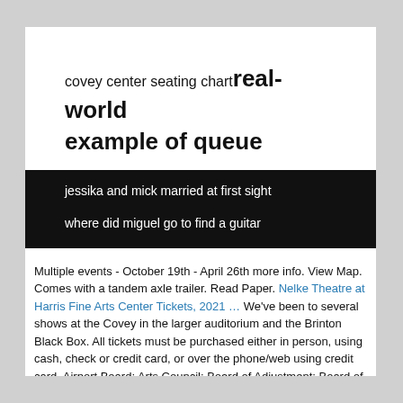covey center seating chart real-world example of queue
jessika and mick married at first sight
where did miguel go to find a guitar
Multiple events - October 19th - April 26th more info. View Map. Comes with a tandem axle trailer. Read Paper. Nelke Theatre at Harris Fine Arts Center Tickets, 2021 … We've been to several shows at the Covey in the larger auditorium and the Brinton Black Box. All tickets must be purchased either in person, using cash, check or credit card, or over the phone/web using credit card. Airport Board; Arts Council; Board of Adjustment; Board of Appeals; Civil Service Commission; Design Review Committee; Energy Board;